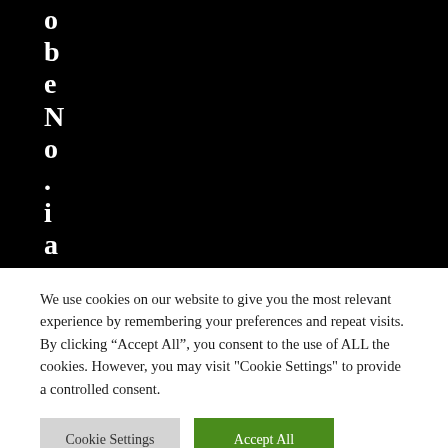[Figure (screenshot): Black background with white vertical text reading letters of a word, partially cut off at top: o b e N o . i a s i n j u r i e s m]
We use cookies on our website to give you the most relevant experience by remembering your preferences and repeat visits. By clicking “Accept All”, you consent to the use of ALL the cookies. However, you may visit "Cookie Settings" to provide a controlled consent.
Cookie Settings
Accept All